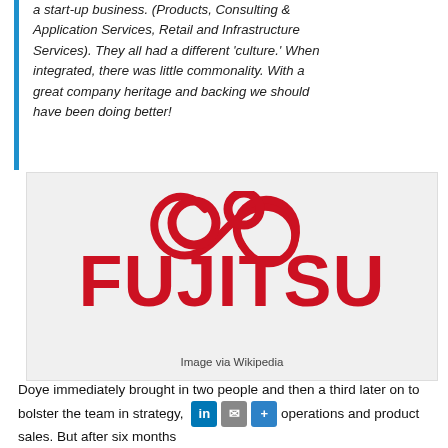a start-up business. (Products, Consulting & Application Services, Retail and Infrastructure Services). They all had a different 'culture.' When integrated, there was little commonality. With a great company heritage and backing we should have been doing better!
[Figure (logo): Fujitsu logo in red on a light grey background, with the Fujitsu infinity-loop symbol above the FUJITSU wordmark. Caption: Image via Wikipedia.]
Image via Wikipedia
Doye immediately brought in two people and then a third later on to bolster the team in strategy, operations and product sales. But after six months